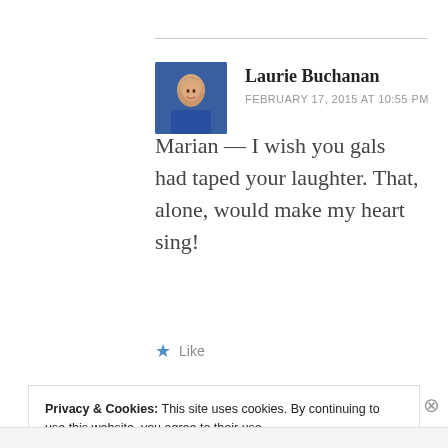Laurie Buchanan
FEBRUARY 17, 2015 AT 10:55 PM
Marian — I wish you gals had taped your laughter. That, alone, would make my heart sing!
Like
Privacy & Cookies: This site uses cookies. By continuing to use this website, you agree to their use.
To find out more, including how to control cookies, see here: Cookie Policy
Close and accept